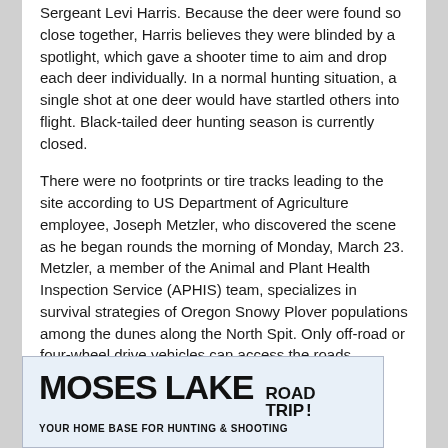Sergeant Levi Harris. Because the deer were found so close together, Harris believes they were blinded by a spotlight, which gave a shooter time to aim and drop each deer individually. In a normal hunting situation, a single shot at one deer would have startled others into flight. Black-tailed deer hunting season is currently closed.
There were no footprints or tire tracks leading to the site according to US Department of Agriculture employee, Joseph Metzler, who discovered the scene as he began rounds the morning of Monday, March 23. Metzler, a member of the Animal and Plant Health Inspection Service (APHIS) team, specializes in survival strategies of Oregon Snowy Plover populations among the dunes along the North Spit. Only off-road or four-wheel drive vehicles can access the roads.
[Figure (illustration): Advertisement banner for Moses Lake Road Trip with bold black text on light blue background. Shows 'MOSES LAKE ROAD TRIP!' in large bold letters and a subtitle line partially visible.]